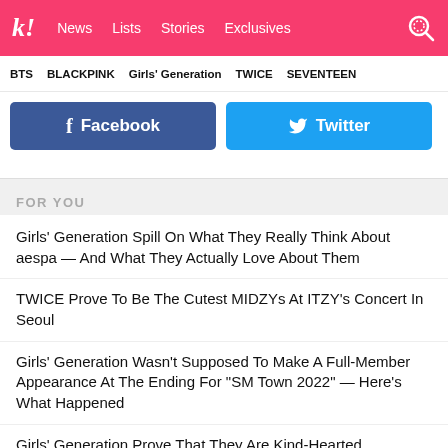k! News  Lists  Stories  Exclusives
BTS  BLACKPINK  Girls' Generation  TWICE  SEVENTEEN
[Figure (other): Facebook and Twitter social share buttons]
FOR YOU
Girls' Generation Spill On What They Really Think About aespa — And What They Actually Love About Them
TWICE Prove To Be The Cutest MIDZYs At ITZY's Concert In Seoul
Girls' Generation Wasn't Supposed To Make A Full-Member Appearance At The Ending For "SM Town 2022" — Here's What Happened
Girls' Generation Prove That They Are Kind-Hearted